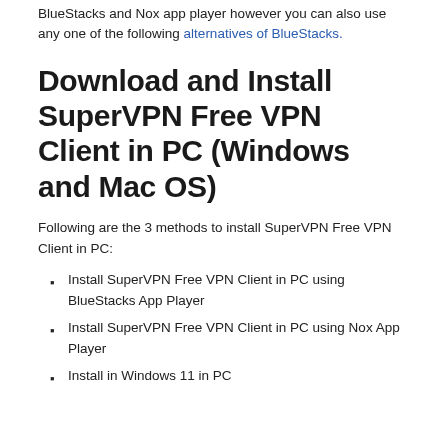BlueStacks and Nox app player however you can also use any one of the following alternatives of BlueStacks.
Download and Install SuperVPN Free VPN Client in PC (Windows and Mac OS)
Following are the 3 methods to install SuperVPN Free VPN Client in PC:
Install SuperVPN Free VPN Client in PC using BlueStacks App Player
Install SuperVPN Free VPN Client in PC using Nox App Player
Install in Windows 11 in PC